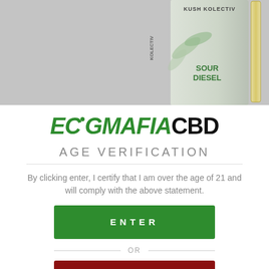[Figure (photo): Product photo of a Kush Kolectiv Sour Diesel CBD vape cartridge against a gray background]
ECIGMAFIACBD
AGE VERIFICATION
By clicking enter, I certify that I am over the age of 21 and will comply with the above statement.
ENTER
OR
EXIT